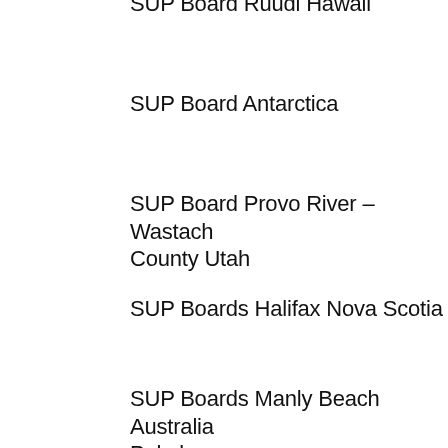SUP Board Ruudi Hawaii
SUP Board Antarctica
SUP Board Provo River – Wastach County Utah
SUP Boards Halifax Nova Scotia
SUP Boards Manly Beach Australia Pakaloa